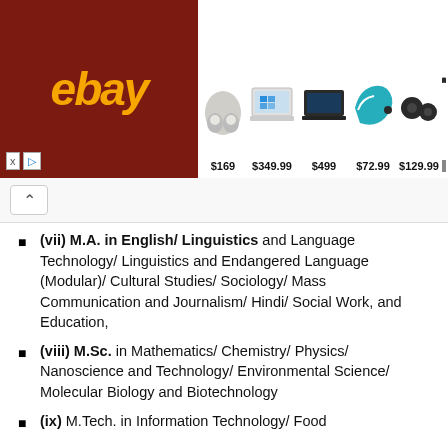[Figure (screenshot): eBay advertisement banner showing earbuds at $169, laptop at $349.99, laptop at $499, tech product at $72.99, earbuds at $129.99, and headphones partially visible]
(vii) M.A. in English/ Linguistics and Language Technology/ Linguistics and Endangered Language (Modular)/ Cultural Studies/ Sociology/ Mass Communication and Journalism/ Hindi/ Social Work, and Education,
(viii) M.Sc. in Mathematics/ Chemistry/ Physics/ Nanoscience and Technology/ Environmental Science/ Molecular Biology and Biotechnology
(ix) M.Tech. in Information Technology/ Food